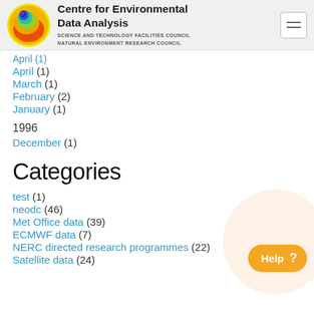Centre for Environmental Data Analysis
SCIENCE AND TECHNOLOGY FACILITIES COUNCIL
NATURAL ENVIRONMENT RESEARCH COUNCIL
April (1)
March (1)
February (2)
January (1)
1996
December (1)
Categories
test (1)
neodc (46)
Met Office data (39)
ECMWF data (7)
NERC directed research programmes (22)
Satellite data (24)